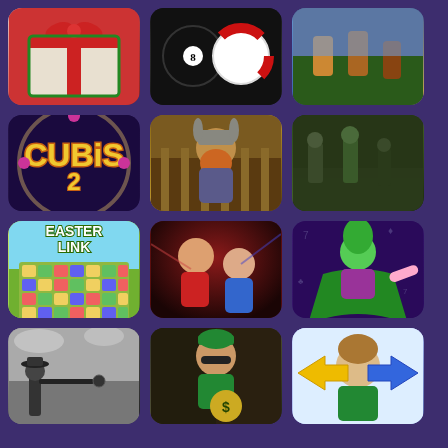[Figure (screenshot): Game icon grid showing 12 mobile/browser game thumbnails on a dark purple background. Row 1: Christmas gift box game, 8-ball pool billiards game, action/fighter game. Row 2: Cubis 2 puzzle game, viking warrior platformer game, zombie survival game. Row 3: Easter Link tile matching game, cop chase/runner game with bald criminal and police officer, cartoon villain character game. Row 4: Sniper/military shooter black and white game, cartoon thief/robber game, Shaggy from Scooby-Doo cartoon game with directional arrows.]